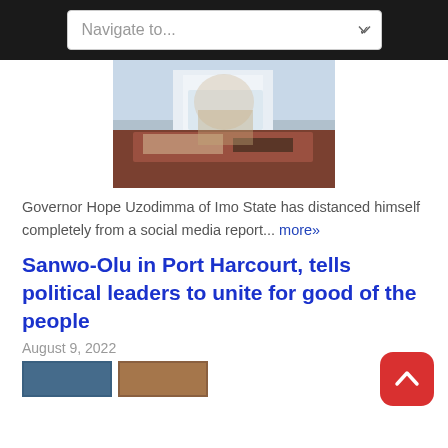Navigate to...
[Figure (photo): Person in white shirt sitting behind a wooden desk with a microphone, gesturing with hands]
Governor Hope Uzodimma of Imo State has distanced himself completely from a social media report... more»
Sanwo-Olu in Port Harcourt, tells political leaders to unite for good of the people
August 9, 2022
[Figure (photo): Article thumbnail images at bottom of page]